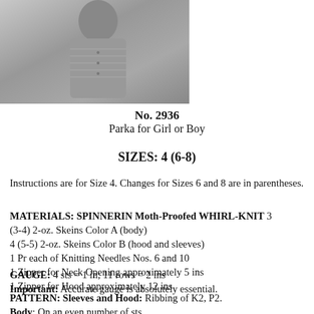[Figure (photo): Black and white photo of a child wearing a knitted parka/jacket, shown from the torso up]
No. 2936
Parka for Girl or Boy
SIZES: 4 (6-8)
Instructions are for Size 4. Changes for Sizes 6 and 8 are in parentheses.
MATERIALS: SPINNERIN Moth-Proofed WHIRL-KNIT 3 (3-4) 2-oz. Skeins Color A (body)
4 (5-5) 2-oz. Skeins Color B (hood and sleeves)
1 Pr each of Knitting Needles Nos. 6 and 10
1 Zipper for Neck Opening approximately 5 ins
1 Zipper for Hood approximately 12 ins
GAUGE: 4 sts = 1 in; 11 rows = 2 ins
Important: Accurate gauge is absolutely essential.
PATTERN: Sleeves and Hood: Ribbing of K2, P2.
Body: On an even number of sts.